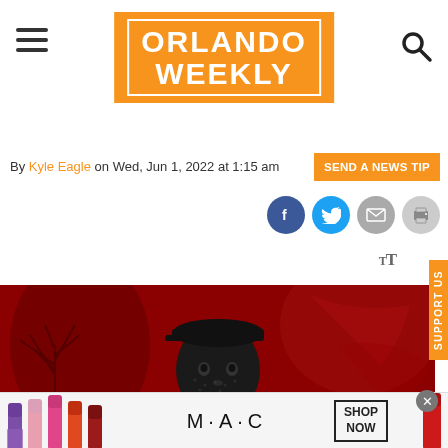Orlando Weekly
By Kyle Eagle on Wed, Jun 1, 2022 at 1:15 am
SEND A NEWS TIP
[Figure (illustration): Black and white halftone illustration of a young Black person wearing a cap, set against a red background with painted tree silhouettes — stylized editorial art for Orlando Weekly]
[Figure (photo): MAC Cosmetics advertisement banner showing colorful lipsticks and a SHOP NOW call-to-action button]